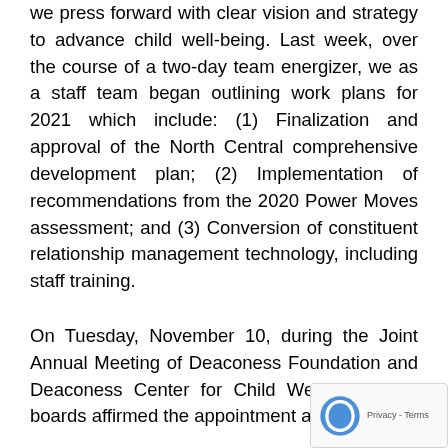we press forward with clear vision and strategy to advance child well-being. Last week, over the course of a two-day team energizer, we as a staff team began outlining work plans for 2021 which include: (1) Finalization and approval of the North Central comprehensive development plan; (2) Implementation of recommendations from the 2020 Power Moves assessment; and (3) Conversion of constituent relationship management technology, including staff training.
On Tuesday, November 10, during the Joint Annual Meeting of Deaconess Foundation and Deaconess Center for Child Well-Being, the boards affirmed the appointment a…